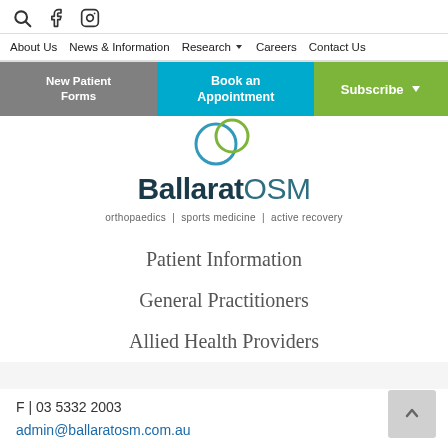[Figure (screenshot): Website navigation header with search, Facebook and Instagram icons, navigation menu (About Us, News & Information, Research, Careers, Contact Us), and three CTA buttons (New Patient Forms, Book an Appointment, Subscribe)]
[Figure (logo): Ballarat OSM logo with two overlapping circles (blue and green) above the text 'BallaratOSM' and tagline 'orthopaedics | sports medicine | active recovery']
Patient Information
General Practitioners
Allied Health Providers
F | 03 5332 2003
admin@ballaratosm.com.au